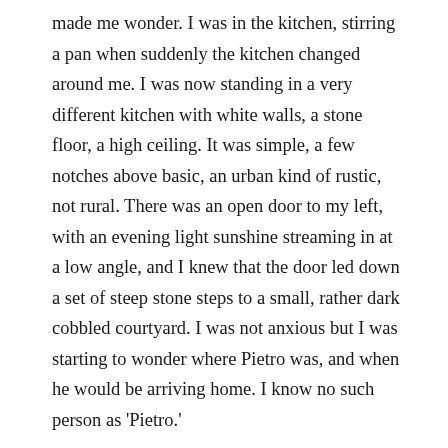made me wonder. I was in the kitchen, stirring a pan when suddenly the kitchen changed around me. I was now standing in a very different kitchen with white walls, a stone floor, a high ceiling. It was simple, a few notches above basic, an urban kind of rustic, not rural. There was an open door to my left, with an evening light sunshine streaming in at a low angle, and I knew that the door led down a set of steep stone steps to a small, rather dark cobbled courtyard. I was not anxious but I was starting to wonder where Pietro was, and when he would be arriving home. I know no such person as 'Pietro.'
A vision. A day dream? An hallucination? Of course. It could have been anything or nothing. It has only ever happened that one time.